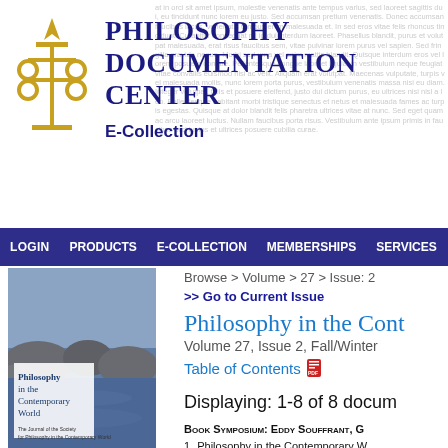Philosophy Documentation Center E-Collection
LOGIN   PRODUCTS   E-COLLECTION   MEMBERSHIPS   SERVICES
Browse > Volume > 27 > Issue: 2
>> Go to Current Issue
Philosophy in the Contemporary World
Volume 27, Issue 2, Fall/Winter
Table of Contents
[Figure (illustration): Cover image of journal 'Philosophy in the Contemporary World', showing rocky coastal scene with blue tones]
Browse by:
Displaying: 1-8 of 8 documents
Volume ▾
27 ▾
Issue: 2
Issue: 1
Book Symposium: Eddy Souffrant, G
1. Philosophy in the Contemporary W
Eddy Souffrant Introduction to the